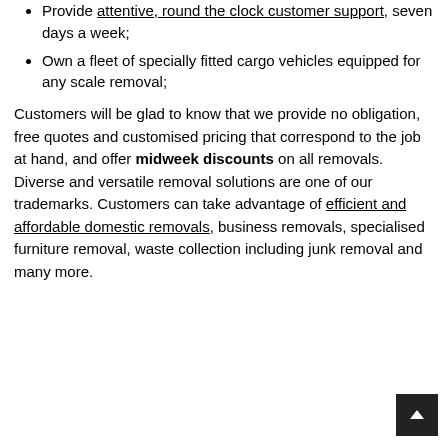Provide attentive, round the clock customer support, seven days a week;
Own a fleet of specially fitted cargo vehicles equipped for any scale removal;
Customers will be glad to know that we provide no obligation, free quotes and customised pricing that correspond to the job at hand, and offer midweek discounts on all removals. Diverse and versatile removal solutions are one of our trademarks. Customers can take advantage of efficient and affordable domestic removals, business removals, specialised furniture removal, waste collection including junk removal and many more.